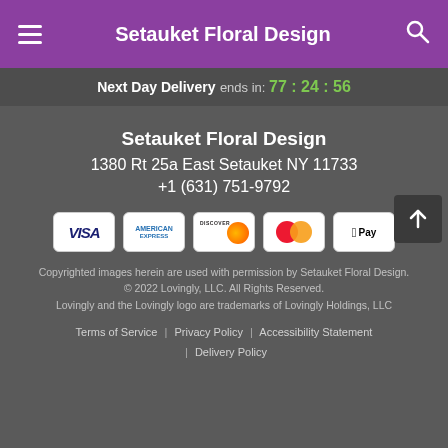Setauket Floral Design
Next Day Delivery ends in: 77:24:56
Setauket Floral Design
1380 Rt 25a East Setauket NY 11733
+1 (631) 751-9792
[Figure (infographic): Payment method icons: VISA, American Express, Discover, Mastercard, Apple Pay]
Copyrighted images herein are used with permission by Setauket Floral Design.
© 2022 Lovingly, LLC. All Rights Reserved.
Lovingly and the Lovingly logo are trademarks of Lovingly Holdings, LLC
Terms of Service  |  Privacy Policy  |  Accessibility Statement  |  Delivery Policy